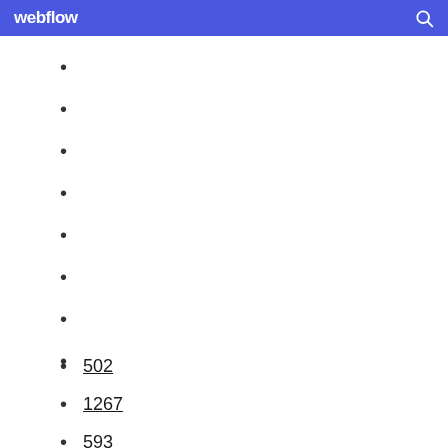webflow
502
1267
593
1638
1712